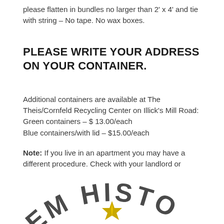please flatten in bundles no larger than 2' x 4' and tie with string – No tape. No wax boxes.
PLEASE WRITE YOUR ADDRESS ON YOUR CONTAINER.
Additional containers are available at The Theis/Cornfeld Recycling Center on Illick's Mill Road:
Green containers – $ 13.00/each
Blue containers/with lid – $15.00/each
Note: If you live in an apartment you may have a different procedure. Check with your landlord or apartment manager.
For missed pick-ups call Republic Services at (855) 866-8399.
[Figure (logo): Partial logo showing curved text reading 'HLEHEM HISTO' with a gold star/leaf emblem in the center, on a white background.]